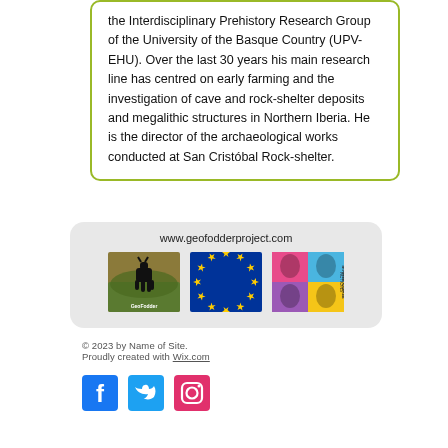the Interdisciplinary Prehistory Research Group of the University of the Basque Country (UPV-EHU). Over the last 30 years his main research line has centred on early farming and the investigation of cave and rock-shelter deposits and megalithic structures in Northern Iberia. He is the director of the archaeological works conducted at San Cristóbal Rock-shelter.
www.geofodderproject.com
[Figure (logo): GeoFodder project logo with goat silhouette on foliage background]
[Figure (logo): European Union flag logo with gold stars on blue background]
[Figure (logo): Marie Curie Actions logo with colorful portrait grid]
© 2023 by Name of Site.
Proudly created with Wix.com
[Figure (logo): Facebook social media icon - blue square with white f]
[Figure (logo): Twitter social media icon - blue square with white bird]
[Figure (logo): Instagram social media icon - pink square with camera outline]